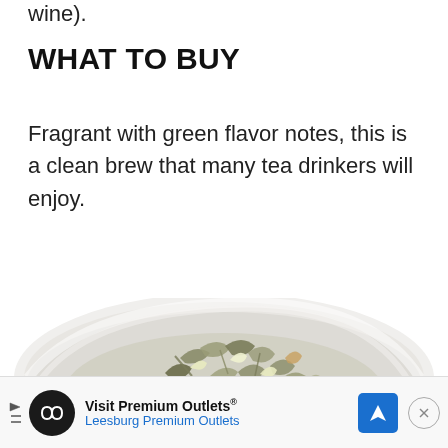wine).
WHAT TO BUY
Fragrant with green flavor notes, this is a clean brew that many tea drinkers will enjoy.
[Figure (photo): A white bowl/cup seen from above, filled with loose-leaf green/white tea leaves on a white background, showing the top half of the bowl.]
Visit Premium Outlets® Leesburg Premium Outlets [advertisement banner]